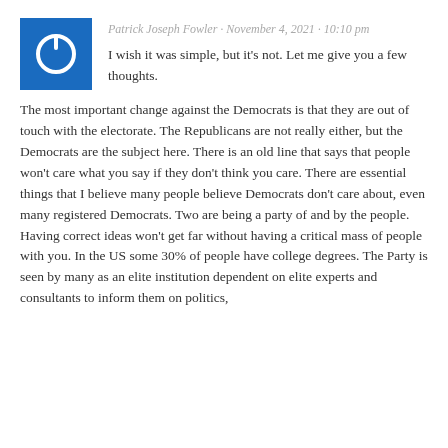Patrick Joseph Fowler · November 4, 2021 · 10:10 pm
I wish it was simple, but it's not. Let me give you a few thoughts.
The most important change against the Democrats is that they are out of touch with the electorate. The Republicans are not really either, but the Democrats are the subject here. There is an old line that says that people won't care what you say if they don't think you care. There are essential things that I believe many people believe Democrats don't care about, even many registered Democrats. Two are being a party of and by the people. Having correct ideas won't get far without having a critical mass of people with you. In the US some 30% of people have college degrees. The Party is seen by many as an elite institution dependent on elite experts and consultants to inform them on politics,